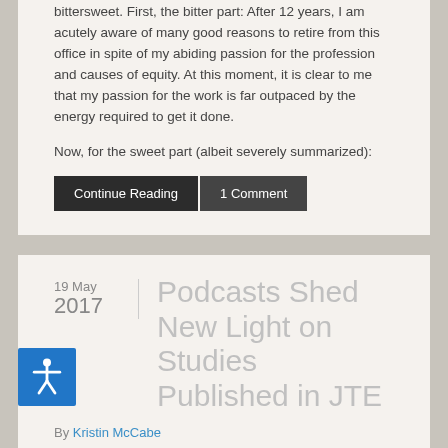bittersweet. First, the bitter part: After 12 years, I am acutely aware of many good reasons to retire from this office in spite of my abiding passion for the profession and causes of equity. At this moment, it is clear to me that my passion for the work is far outpaced by the energy required to get it done.
Now, for the sweet part (albeit severely summarized):
Continue Reading   1 Comment
Podcasts Shed New Light on Studies Published in JTE
By Kristin McCabe